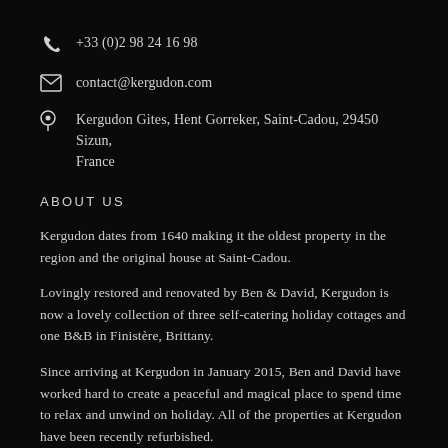+33 (0)2 98 24 16 98
contact@kergudon.com
Kergudon Gites, Hent Gorreker, Saint-Cadou, 29450 Sizun, France
ABOUT US
Kergudon dates from 1640 making it the oldest property in the region and the original house at Saint-Cadou.
Lovingly restored and renovated by Ben & David, Kergudon is now a lovely collection of three self-catering holiday cottages and one B&B in Finistère, Brittany.
Since arriving at Kergudon in January 2015, Ben and David have worked hard to create a peaceful and magical place to spend time to relax and unwind on holiday. All of the properties at Kergudon have been recently refurbished.
Providing the very highest quality of holiday accommodation has